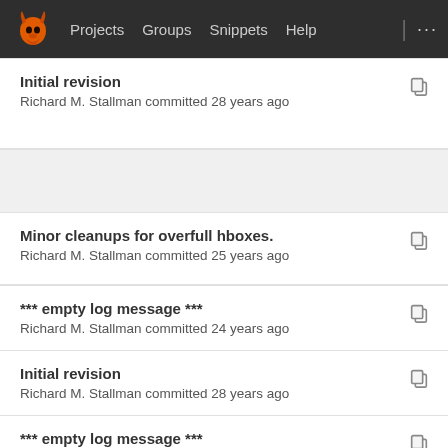[Figure (screenshot): GitLab navigation bar with logo, Projects, Groups, Snippets, Help links]
Initial revision
Richard M. Stallman committed 28 years ago
Minor cleanups for overfull hboxes.
Richard M. Stallman committed 25 years ago
*** empty log message ***
Richard M. Stallman committed 24 years ago
Initial revision
Richard M. Stallman committed 28 years ago
*** empty log message ***